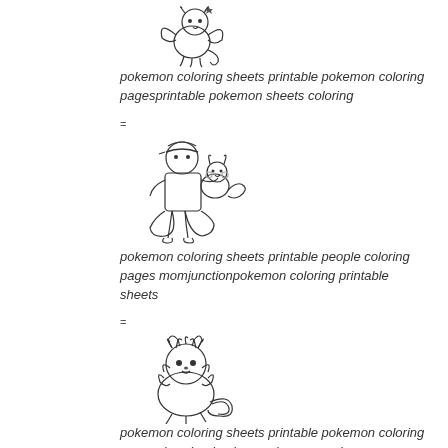[Figure (illustration): Line drawing of a Pokemon character (Clefairy or similar flying pokemon) in black and white outline style]
pokemon coloring sheets printable pokemon coloring pagesprintable pokemon sheets coloring
=
[Figure (illustration): Line drawing of Ash Ketchum sitting with Pikachu on his shoulder, black and white outline style]
pokemon coloring sheets printable people coloring pages momjunctionpokemon coloring printable sheets
=
[Figure (illustration): Line drawing of Flareon/Eevee pokemon in black and white outline style]
pokemon coloring sheets printable pokemon coloring pages download pokemon images and